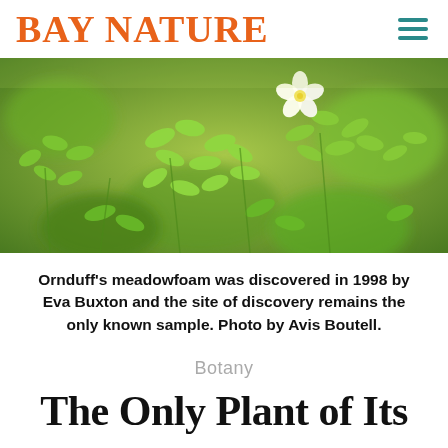BAY NATURE
[Figure (photo): Close-up photograph of Ornduff's meadowfoam plant with small green leaves and a white flower visible in the upper right area of the frame, blurred background of green foliage.]
Ornduff’s meadowfoam was discovered in 1998 by Eva Buxton and the site of discovery remains the only known sample. Photo by Avis Boutell.
Botany
The Only Plant of Its